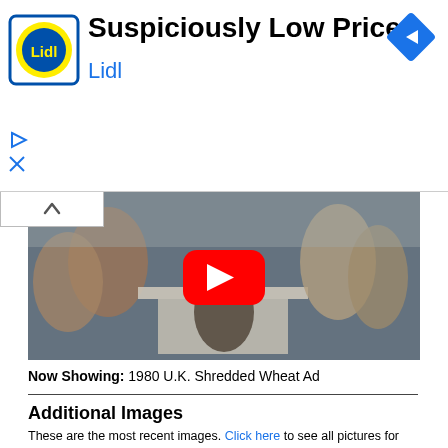[Figure (advertisement): Lidl advertisement banner with Lidl logo on left, 'Suspiciously Low Prices' headline, 'Lidl' in blue text, and a blue navigation arrow icon on the right. Play and close controls at bottom left.]
[Figure (screenshot): YouTube-style video thumbnail showing a family eating at a table outdoors, with a red YouTube play button in the center. A collapse/up arrow button appears at the top left of the video area.]
Now Showing: 1980 U.K. Shredded Wheat Ad
Additional Images
These are the most recent images. Click here to see all pictures for Shredded Wheat (Nabisco).